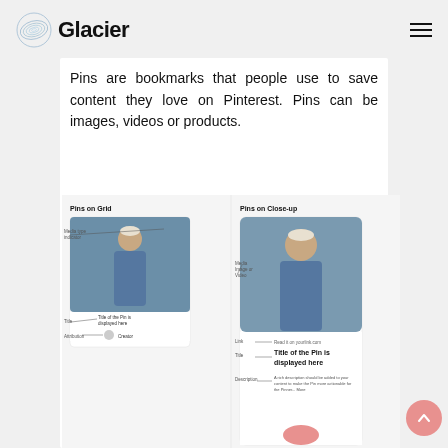Glacier
Pins are bookmarks that people use to save content they love on Pinterest. Pins can be images, videos or products.
[Figure (screenshot): Screenshot showing Pinterest UI: 'Pins on Grid' view (left) showing a person in a blue shirt with labels for Media type indicator, Title, and Attribution fields; 'Pins on Close-up' view (right) showing large photo of same person with labels for Media, Link, Title, and Description fields.]